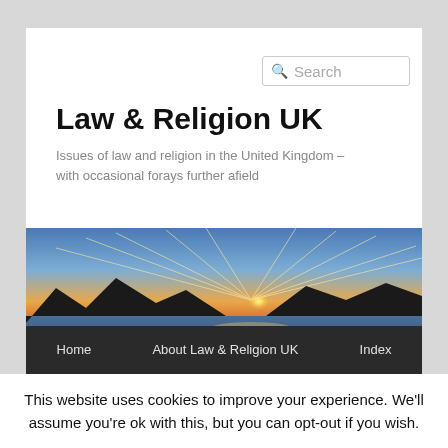Search
Law & Religion UK
Issues of law and religion in the United Kingdom – with occasional forays further afield
[Figure (photo): Panoramic sunset over a coastal landscape with mountains silhouetted against an orange and blue sky with dramatic cloud rays]
Home   About Law & Religion UK   Index
Recent posts   Recent comments   Archives
This website uses cookies to improve your experience. We'll assume you're ok with this, but you can opt-out if you wish.